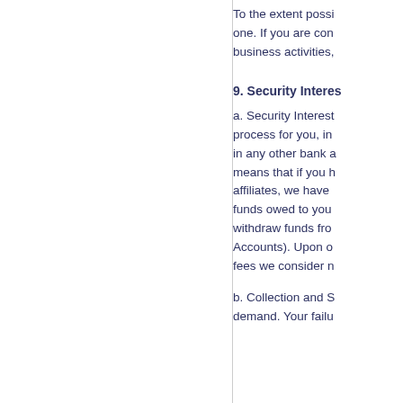To the extent possi one. If you are con business activities,
9. Security Interes
a. Security Interest process for you, in in any other bank a means that if you h affiliates, we have funds owed to you withdraw funds fro Accounts). Upon o fees we consider n
b. Collection and S demand. Your failu